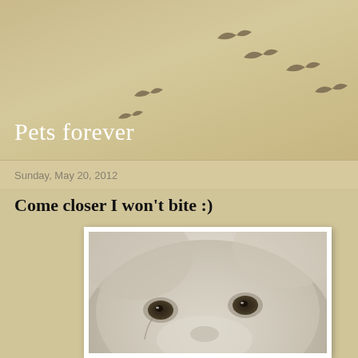Pets forever
Sunday, May 20, 2012
Come closer I won't bite :)
[Figure (photo): Close-up photograph of a white dog's face looking directly at the camera, showing its eyes and fur in soft focus]
[Figure (illustration): Silhouette birds in flight arranged in an arc pattern across the sandy/tan background header area]